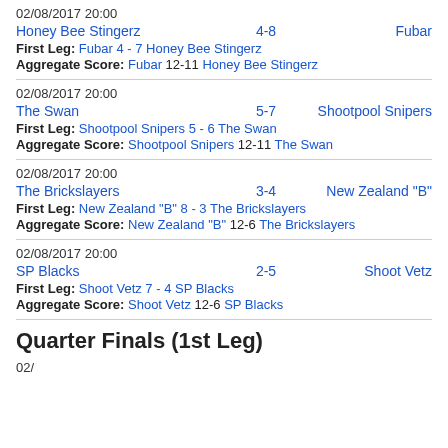02/08/2017 20:00
Honey Bee Stingerz   4-8   Fubar
First Leg: Fubar 4 - 7 Honey Bee Stingerz
Aggregate Score: Fubar 12-11 Honey Bee Stingerz
02/08/2017 20:00
The Swan   5-7   Shootpool Snipers
First Leg: Shootpool Snipers 5 - 6 The Swan
Aggregate Score: Shootpool Snipers 12-11 The Swan
02/08/2017 20:00
The Brickslayers   3-4   New Zealand "B"
First Leg: New Zealand "B" 8 - 3 The Brickslayers
Aggregate Score: New Zealand "B" 12-6 The Brickslayers
02/08/2017 20:00
SP Blacks   2-5   Shoot Vetz
First Leg: Shoot Vetz 7 - 4 SP Blacks
Aggregate Score: Shoot Vetz 12-6 SP Blacks
Quarter Finals (1st Leg)
02/17/2017 20:00